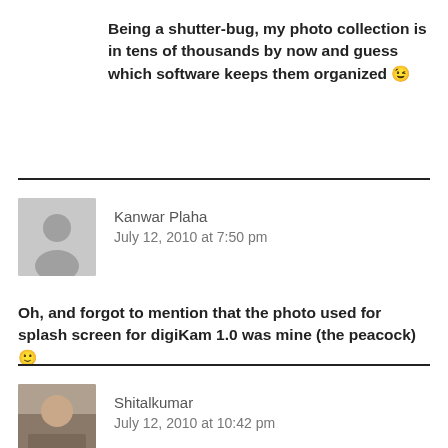Being a shutter-bug, my photo collection is in tens of thousands by now and guess which software keeps them organized 😉
Kanwar Plaha
July 12, 2010 at 7:50 pm
Oh, and forgot to mention that the photo used for splash screen for digiKam 1.0 was mine (the peacock) 🙂
Shitalkumar
July 12, 2010 at 10:42 pm